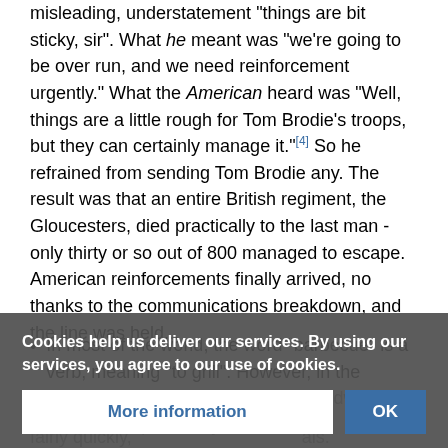misleading, understatement "things are bit sticky, sir". What he meant was "we're going to be over run, and we need reinforcement urgently." What the American heard was "Well, things are a little rough for Tom Brodie's troops, but they can certainly manage it."[4] So he refrained from sending Tom Brodie any. The result was that an entire British regiment, the Gloucesters, died practically to the last man - only thirty or so out of 800 managed to escape. American reinforcements finally arrived, no thanks to the communications breakdown, and the line was held...
In most of the world, the word "barbecue" is a verb, meaning "to grill". However, in the American South (and most of the Midwest) it refers to a specific style of cooking... grilling is done fairly quickly... Barbecue is a far slower process (several hours at